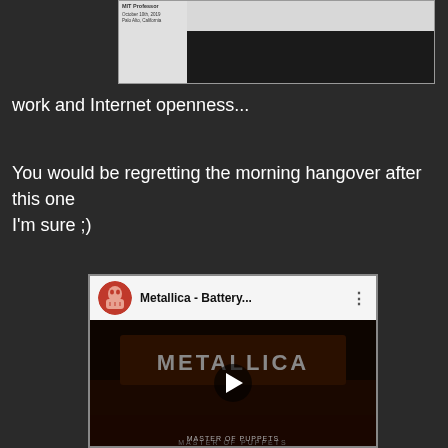[Figure (screenshot): Partial screenshot of a webpage showing MIT Professor info panel with date October 10th, 2019, Palo Alto, California, with a dark content area]
work and Internet openness...
You would be regretting the morning hangover after this one I'm sure ;)
[Figure (screenshot): YouTube video embed showing Metallica - Battery... with a circular avatar thumbnail, play button overlay on dark album art background, and 'MASTER OF PUPPETS' text at bottom]